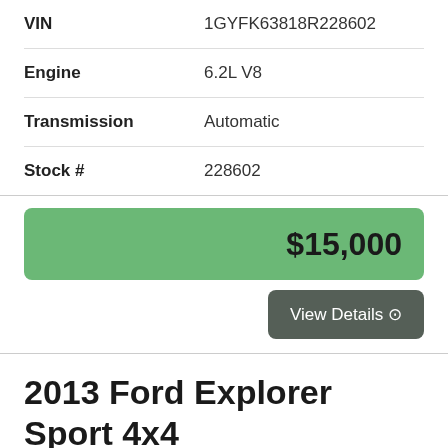| Field | Value |
| --- | --- |
| VIN | 1GYFK63818R228602 |
| Engine | 6.2L V8 |
| Transmission | Automatic |
| Stock # | 228602 |
$15,000
View Details ⊙
2013 Ford Explorer Sport 4x4
[Figure (photo): Vehicle image placeholder (dark/black bar)]